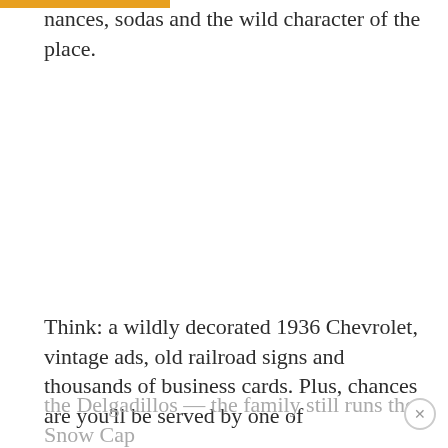nances, sodas and the wild character of the place.
Think: a wildly decorated 1936 Chevrolet, vintage ads, old railroad signs and thousands of business cards. Plus, chances are you'll be served by one of the Delgadillos — the family still runs the Snow Cap